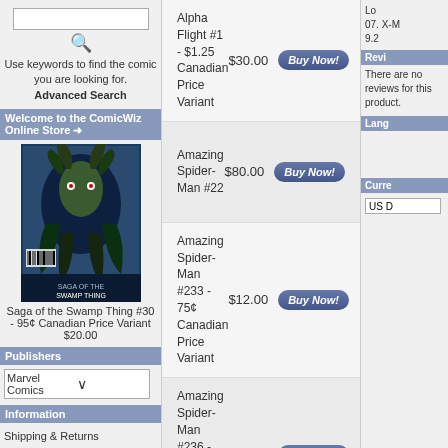Use keywords to find the comic you are looking for. Advanced Search
Welcome to the ComicWiz Online Store
[Figure (illustration): Comic book cover for Saga of the Swamp Thing #30]
Saga of the Swamp Thing #30 - 95¢ Canadian Price Variant $20.00
Publishers
Marvel Comics
Information
Shipping & Returns
Privacy Notice
Conditions of Use
Contact Us
Alpha Flight #1 - $1.25 Canadian Price Variant
$30.00
Amazing Spider-Man #22
$80.00
Amazing Spider-Man #233 - 75¢ Canadian Price Variant
$12.00
Amazing Spider-Man #236 - 75¢ Canadian Price Variant
$20.00
Amazing Spider-Man #238 - CGC
$500.00
Revi
There are no reviews for this product.
Lang
Curre
US D